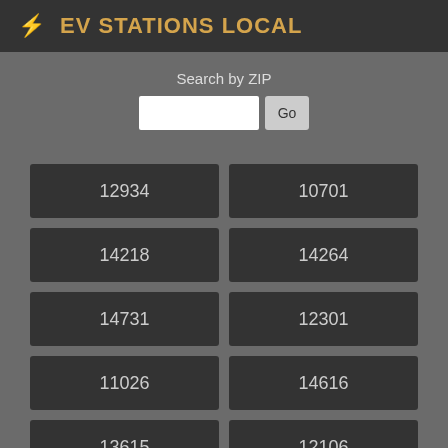⚡ EV STATIONS LOCAL
Search by ZIP
12934
10701
14218
14264
14731
12301
11026
14616
13615
12106
14170
12242